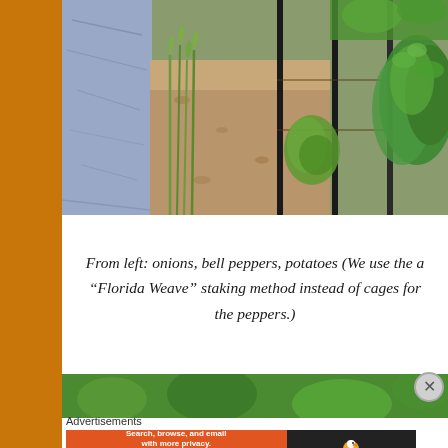[Figure (photo): Garden photo showing rows of plants from left to right: onions (tall thin green shoots), bell peppers with black metal stakes/poles, and potato plants with lush green foliage. A reflective water or plastic mulch surface is visible on the far left.]
From left: onions, bell peppers, potatoes (We use the a “Florida Weave” staking method instead of cages for the peppers.)
[Figure (photo): Partial photo at bottom showing green garden plants, cropped at the bottom of the page.]
Advertisements
[Figure (screenshot): DuckDuckGo advertisement banner: orange left section reads 'Search, browse, and email with more privacy. All in One Free App', dark right section shows DuckDuckGo duck logo and name.]